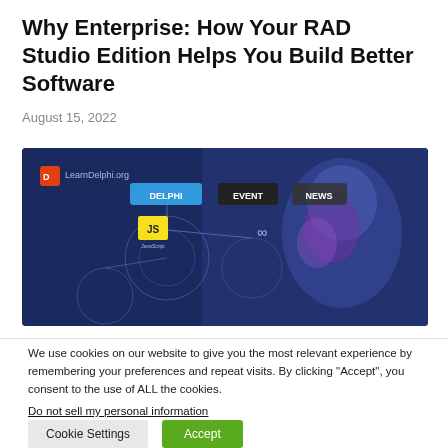Why Enterprise: How Your RAD Studio Edition Helps You Build Better Software
August 15, 2022
[Figure (screenshot): Banner image showing LearnDelphi.org website with navigation links: DELPHI, EVENT, NEWS, JS (JavaScript), and other icons on a dark blue background with a digital humanoid figure]
We use cookies on our website to give you the most relevant experience by remembering your preferences and repeat visits. By clicking “Accept”, you consent to the use of ALL the cookies.
Do not sell my personal information.
Cookie Settings
Accept